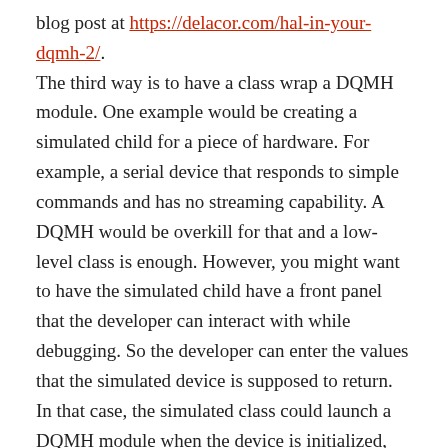blog post at https://delacor.com/hal-in-your-dqmh-2/. The third way is to have a class wrap a DQMH module. One example would be creating a simulated child for a piece of hardware. For example, a serial device that responds to simple commands and has no streaming capability. A DQMH would be overkill for that and a low-level class is enough. However, you might want to have the simulated child have a front panel that the developer can interact with while debugging. So the developer can enter the values that the simulated device is supposed to return. In that case, the simulated class could launch a DQMH module when the device is initialized, interact via request and broadcast events and stop the DQMH module when the